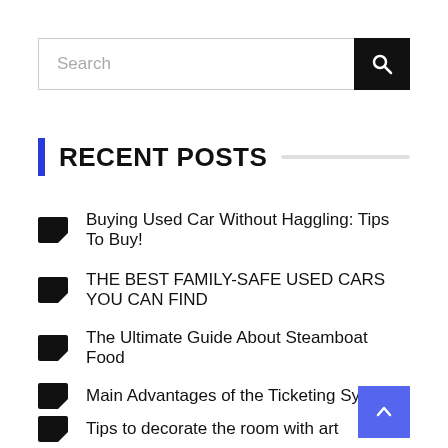[Figure (screenshot): Search input box with placeholder text 'Search' and a black search button with magnifying glass icon]
RECENT POSTS
Buying Used Car Without Haggling: Tips To Buy!
THE BEST FAMILY-SAFE USED CARS YOU CAN FIND
The Ultimate Guide About Steamboat Food
Main Advantages of the Ticketing System
Tips to decorate the room with art